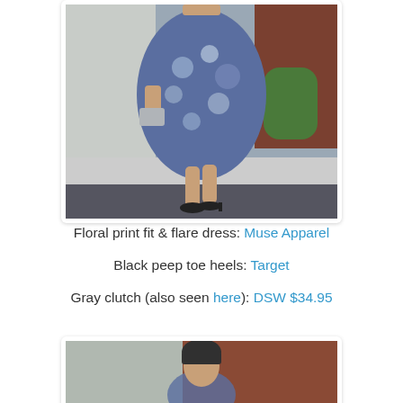[Figure (photo): Photo of a woman in a blue floral print fit & flare dress with black peep toe heels and a gray clutch, walking outside.]
Floral print fit & flare dress: Muse Apparel
Black peep toe heels: Target
Gray clutch (also seen here): DSW $34.95
[Figure (photo): Photo of a woman with dark bangs standing in front of a brown door/wall, wearing the floral dress.]